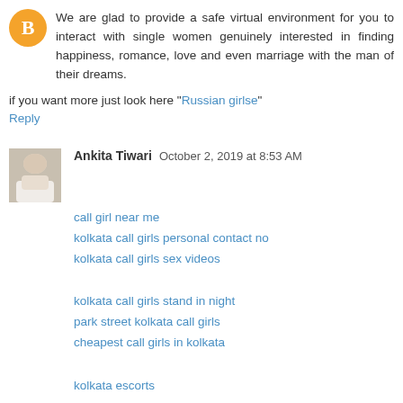[Figure (logo): Blogger orange circle logo icon]
We are glad to provide a safe virtual environment for you to interact with single women genuinely interested in finding happiness, romance, love and even marriage with the man of their dreams.
if you want more just look here "Russian girlse"
Reply
[Figure (photo): Avatar photo of Ankita Tiwari - woman in white top]
Ankita Tiwari  October 2, 2019 at 8:53 AM
call girl near me
kolkata call girls personal contact no
kolkata call girls sex videos
kolkata call girls stand in night
park street kolkata call girls
cheapest call girls in kolkata
kolkata escorts